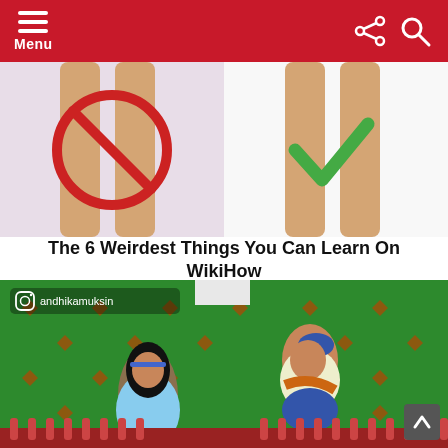Menu
[Figure (illustration): WikiHow style illustration showing legs with a red prohibition circle (wrong) on the left and a green checkmark (correct) on the right, on a white/light purple background.]
The 6 Weirdest Things You Can Learn On WikiHow
[Figure (photo): Disney animated characters Jasmine and Aladdin on a green screen background with red diamond patterns. Instagram handle 'andhikamuksin' shown in top left. A scroll-to-top button is visible in bottom right corner.]